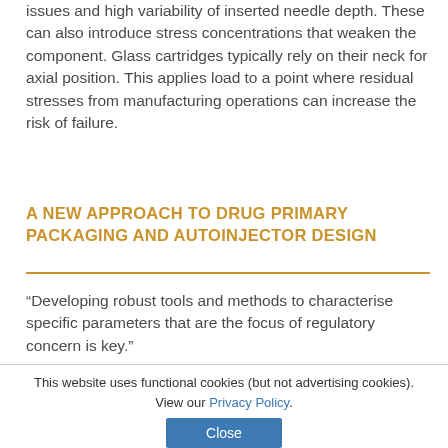issues and high variability of inserted needle depth. These can also introduce stress concentrations that weaken the component. Glass cartridges typically rely on their neck for axial position. This applies load to a point where residual stresses from manufacturing operations can increase the risk of failure.
A NEW APPROACH TO DRUG PRIMARY PACKAGING AND AUTOINJECTOR DESIGN
“Developing robust tools and methods to characterise specific parameters that are the focus of regulatory concern is key.”
This website uses functional cookies (but not advertising cookies). View our Privacy Policy.